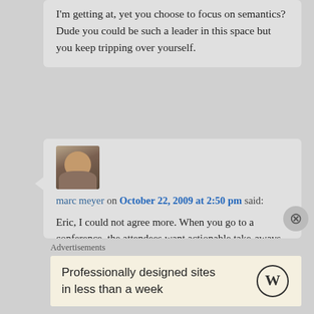I'm getting at, yet you choose to focus on semantics? Dude you could be such a leader in this space but you keep tripping over yourself.
marc meyer on October 22, 2009 at 2:50 pm said: Eric, I could not agree more. When you go to a conference, the attendees want actionable take-aways, not diatribes on what we NEED to do, or what we SHOULD do. We are just about past the point of writing posts about the how to's and the what for's and need to start focusing as you say on the, what worked and what didn't and why…
Advertisements
Professionally designed sites in less than a week